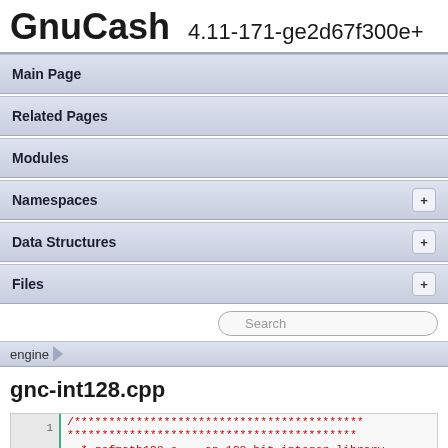GnuCash 4.11-171-ge2d67f300e+
Main Page
Related Pages
Modules
Namespaces +
Data Structures +
Files +
Search
engine
gnc-int128.cpp
1 /************************************************************
 * qofmath128.c -- an 128-bit integer library